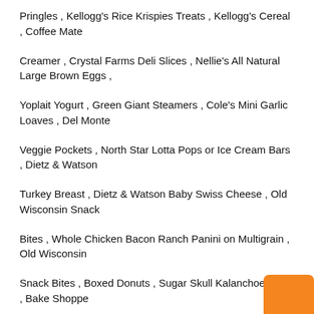Pringles , Kellogg's Rice Krispies Treats , Kellogg's Cereal , Coffee Mate
Creamer , Crystal Farms Deli Slices , Nellie's All Natural Large Brown Eggs ,
Yoplait Yogurt , Green Giant Steamers , Cole's Mini Garlic Loaves , Del Monte
Veggie Pockets , North Star Lotta Pops or Ice Cream Bars , Dietz & Watson
Turkey Breast , Dietz & Watson Baby Swiss Cheese , Old Wisconsin Snack
Bites , Whole Chicken Bacon Ranch Panini on Multigrain , Old Wisconsin
Snack Bites , Boxed Donuts , Sugar Skull Kalanchoe Plant , Bake Shoppe
Mini Cookies , Pantene Shampoo or Conditioner , Old Spice Body